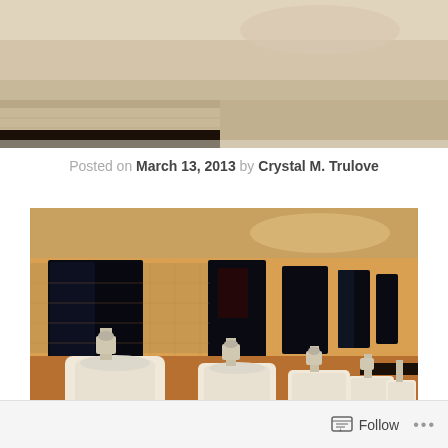[Figure (photo): Partial view of a public restroom showing tiled ceiling and upper wall area with warm orange/brown tones]
Posted on March 13, 2013 by Crystal M. Trulove
[Figure (photo): Interior of a public men's restroom showing a row of white porcelain urinals mounted on white tiled walls, with chrome flush valves, and dark rectangular panels/windows between each urinal. The photo has a warm amber/orange tone.]
Follow ...